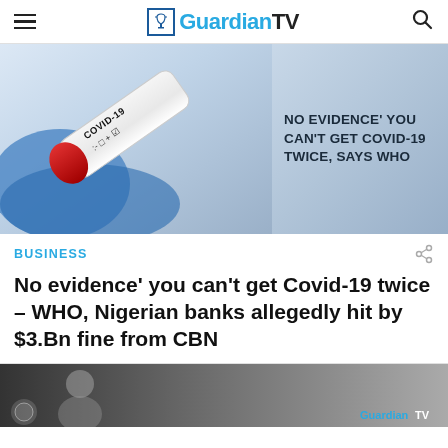GuardianTV
[Figure (photo): COVID-19 test tube held by gloved hand on left; text overlay on right reading 'NO EVIDENCE' YOU CAN'T GET COVID-19 TWICE, SAYS WHO']
BUSINESS
No evidence' you can't get Covid-19 twice – WHO, Nigerian banks allegedly hit by $3.Bn fine from CBN
[Figure (photo): Black and white thumbnail image of a person, with GuardianTV watermark]